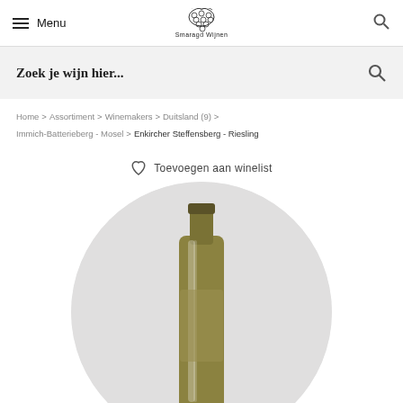Menu | Smaragd Wijnen
Zoek je wijn hier...
Home > Assortiment > Winemakers > Duitsland (9) > Immich-Batterieberg - Mosel > Enkircher Steffensberg - Riesling
Toevoegen aan winelist
[Figure (photo): Close-up photo of a wine bottle with an olive/golden-colored label or foil, shown inside a circular cropped frame against a light background]